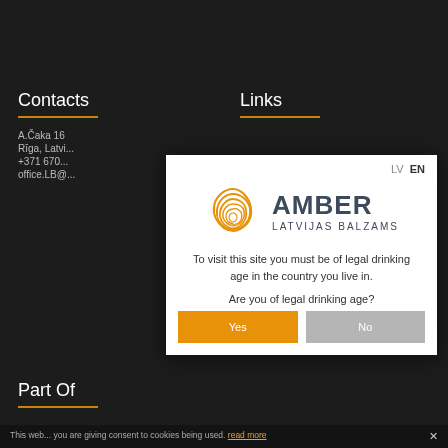Contacts
Links
A.Čaka 16
Rīga, Latvi...
+371 670...
office.LB@...
[Figure (logo): Amber Latvijas Balzams logo — orange triangular swirl icon with AMBER LATVIJAS BALZAMS text]
To visit this site you must be of legal drinking age in the country you live in.
Are you of legal drinking age?
Yes
No
Part Of
This web... you are giving consent to cookies being used. read more
LV  EN